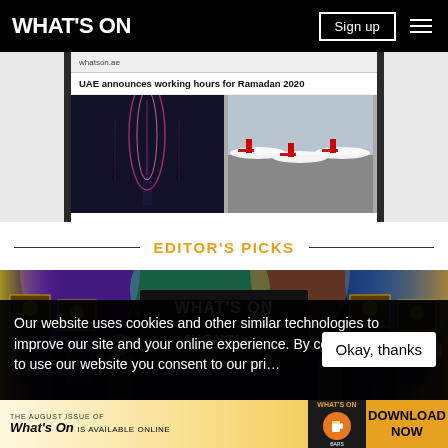WHAT'S ON
[Figure (screenshot): Smartphone browser showing 'UAE announces working hours for Ramadan 2020' headline with two images below: pink lit spires (Burj Khalifa) at night and Emirates planes parked at airport]
EDITOR'S PICKS
[Figure (photo): Group of people holding award plaques on a colorful stage with 'WHAT'S ON NIGHTLIFE' signage in the background]
Our website uses cookies and other similar technologies to improve our site and your online experience. By continuing to use our website you consent to our pri…
[Figure (screenshot): Ad banner: THE AUGUST ISSUE OF What's On IS AVAILABLE ONLINE — DOWNLOAD NOW]